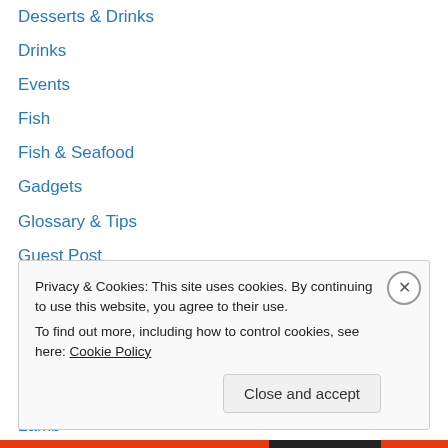Desserts & Drinks
Drinks
Events
Fish
Fish & Seafood
Gadgets
Glossary & Tips
Guest Post
Home Page
Ingredients
Interviews
Kitchen & Stuff
Lamb
Privacy & Cookies: This site uses cookies. By continuing to use this website, you agree to their use. To find out more, including how to control cookies, see here: Cookie Policy